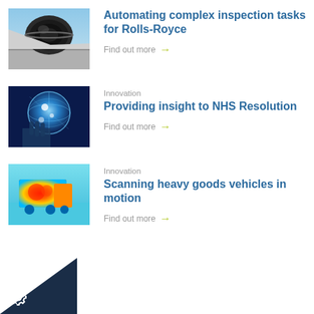[Figure (photo): Aircraft engine viewed from below on tarmac — jet engine close-up, plane wing visible, blue sky background]
Automating complex inspection tasks for Rolls-Royce
Find out more →
Innovation
[Figure (photo): Person touching a glowing digital globe — blue digital technology visualization with light effects]
Providing insight to NHS Resolution
Find out more →
Innovation
[Figure (photo): Thermal imaging scan of a heavy goods vehicle — false color heat map showing vehicle in motion, blues, greens, yellows and reds]
Scanning heavy goods vehicles in motion
Find out more →